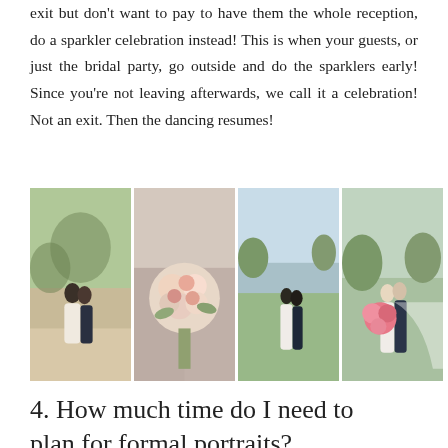exit but don't want to pay to have them the whole reception, do a sparkler celebration instead! This is when your guests, or just the bridal party, go outside and do the sparklers early! Since you're not leaving afterwards, we call it a celebration! Not an exit. Then the dancing resumes!
[Figure (photo): Four wedding photos side by side: couple embracing outdoors at sunset, close-up of bridal bouquet with pink and white flowers, couple kissing near a lake, couple embracing with pink bouquet]
4. How much time do I need to plan for formal portraits?